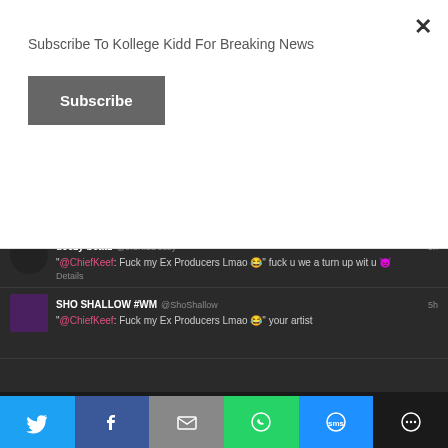Subscribe To Kollege Kidd For Breaking News
Subscribe
[Figure (screenshot): Twitter/social media feed screenshot on dark background showing tweets from @10x90 @CHIEFKEEF, deezy beatz @theKidDeezy, and SHO SHALLOW #WM @ShoShallow with KOLLEGE KIDD watermark]
Chop retweeted the statement and wrote a message, reading, “LMAO.”
[Figure (screenshot): Partial tweet from YOUNG CHOP @youngchopbeatz dated 13 Aug]
[Figure (screenshot): Social share bar with Twitter, Facebook, Email, WhatsApp, SMS, and More buttons]